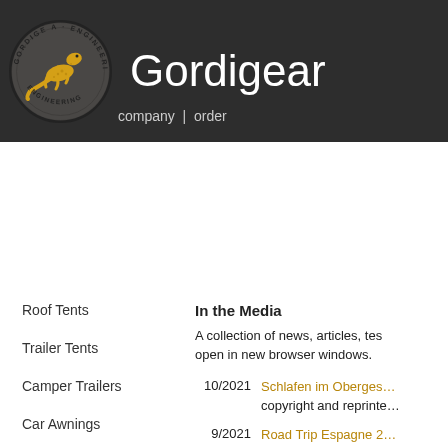[Figure (logo): Gordigear circular logo with golden gecko/lizard illustration and text 'GORDIGE A' and 'ENGINEERING' around the border]
Gordigear
company | order
Roof Tents
Trailer Tents
Camper Trailers
Car Awnings
Care Products
In the Media
A collection of news, articles, tes… open in new browser windows.
10/2021   Schlafen im Oberges… copyright and reprinte…
9/2021   Road Trip Espagne 2… YouTube video clip